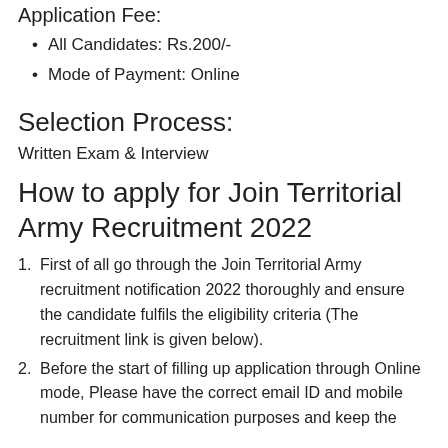Application Fee:
All Candidates: Rs.200/-
Mode of Payment: Online
Selection Process:
Written Exam & Interview
How to apply for Join Territorial Army Recruitment 2022
First of all go through the Join Territorial Army recruitment notification 2022 thoroughly and ensure the candidate fulfils the eligibility criteria (The recruitment link is given below).
Before the start of filling up application through Online mode, Please have the correct email ID and mobile number for communication purposes and keep the